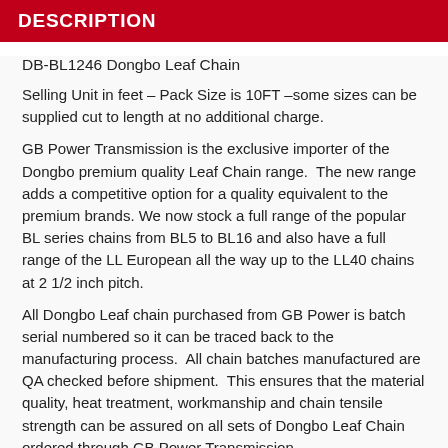DESCRIPTION
DB-BL1246 Dongbo Leaf Chain
Selling Unit in feet – Pack Size is 10FT –some sizes can be supplied cut to length at no additional charge.
GB Power Transmission is the exclusive importer of the Dongbo premium quality Leaf Chain range.  The new range adds a competitive option for a quality equivalent to the premium brands. We now stock a full range of the popular BL series chains from BL5 to BL16 and also have a full range of the LL European all the way up to the LL40 chains at 2 1/2 inch pitch.
All Dongbo Leaf chain purchased from GB Power is batch serial numbered so it can be traced back to the manufacturing process.  All chain batches manufactured are QA checked before shipment.  This ensures that the material quality, heat treatment, workmanship and chain tensile strength can be assured on all sets of Dongbo Leaf Chain ordered through GB Power Transmission.